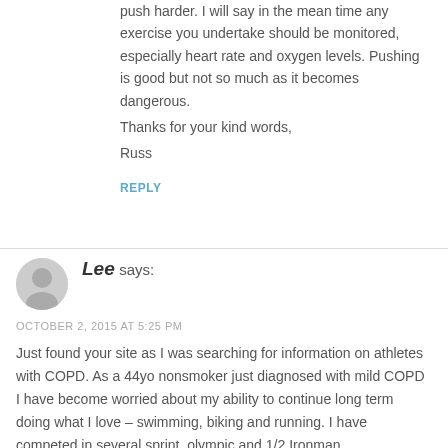push harder. I will say in the mean time any exercise you undertake should be monitored, especially heart rate and oxygen levels. Pushing is good but not so much as it becomes dangerous.
Thanks for your kind words,
Russ
REPLY
Lee says:
OCTOBER 2, 2015 AT 5:25 PM
Just found your site as I was searching for information on athletes with COPD. As a 44yo nonsmoker just diagnosed with mild COPD I have become worried about my ability to continue long term doing what I love – swimming, biking and running. I have competed in several sprint, olympic and 1/2 Ironman